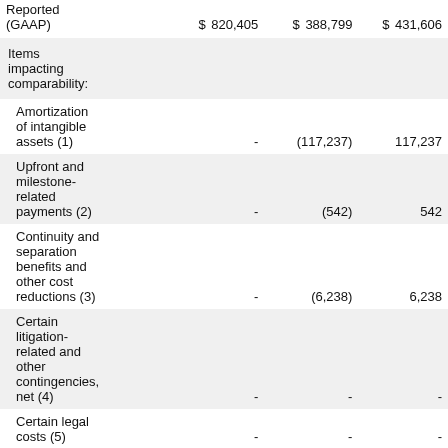|  | Col1 | Col2 | Col3 |
| --- | --- | --- | --- |
| Reported (GAAP) | $ 820,405 | $ 388,799 | $ 431,606 |
| Items impacting comparability: |  |  |  |
| Amortization of intangible assets (1) | - | (117,237) | 117,237 |
| Upfront and milestone-related payments (2) | - | (542) | 542 |
| Continuity and separation benefits and other cost reductions (3) | - | (6,238) | 6,238 |
| Certain litigation-related and other contingencies, net (4) | - | - | - |
| Certain legal costs (5) | - | - | - |
| Asset... |  |  |  |